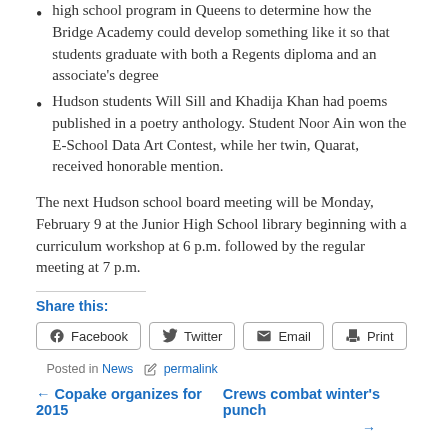high school program in Queens to determine how the Bridge Academy could develop something like it so that students graduate with both a Regents diploma and an associate's degree
Hudson students Will Sill and Khadija Khan had poems published in a poetry anthology. Student Noor Ain won the E-School Data Art Contest, while her twin, Quarat, received honorable mention.
The next Hudson school board meeting will be Monday, February 9 at the Junior High School library beginning with a curriculum workshop at 6 p.m. followed by the regular meeting at 7 p.m.
Share this:
Facebook | Twitter | Email | Print
Posted in News  permalink
← Copake organizes for 2015   Crews combat winter's punch →